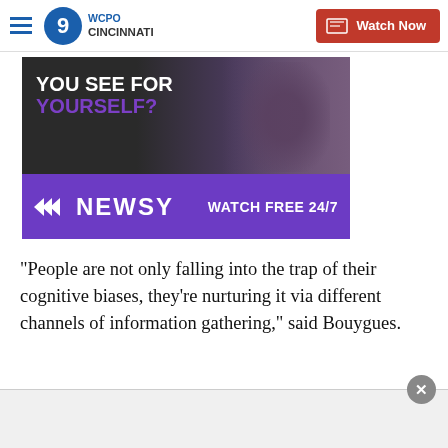WCPO 9 Cincinnati — Watch Now
[Figure (screenshot): Newsy advertisement banner: 'YOU SEE FOR YOURSELF? NEWSY — WATCH FREE 24/7' with basketball player background image and purple branding bar]
“People are not only falling into the trap of their cognitive biases, they’re nurturing it via different channels of information gathering,” said Bouygues.
After President Trump was banned from Twitter on